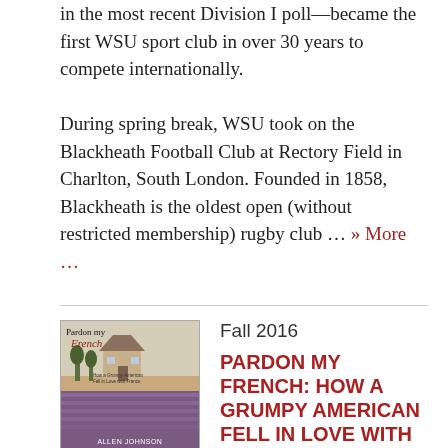in the most recent Division I poll—became the first WSU sport club in over 30 years to compete internationally.

During spring break, WSU took on the Blackheath Football Club at Rectory Field in Charlton, South London. Founded in 1858, Blackheath is the oldest open (without restricted membership) rugby club … » More …
[Figure (illustration): Book cover of 'Pardon my French' by Allen Johnson, showing a French farmhouse with lavender fields in the foreground.]
Fall 2016
PARDON MY FRENCH: HOW A GRUMPY AMERICAN FELL IN LOVE WITH…